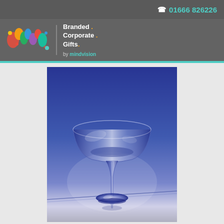01666 826226
[Figure (logo): Branded Corporate Gifts by mindvision logo with colourful m letter mark]
Branded . Corporate . Gifts . by mindvision
[Figure (photo): A clear glass margarita/martini cocktail glass on a reflective surface against a blue gradient background]